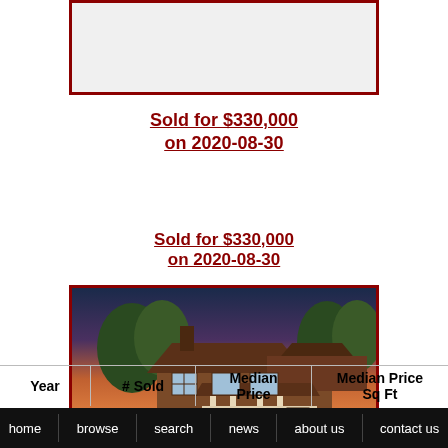[Figure (photo): Partially visible property image placeholder with dark red border]
Sold for $330,000
on 2020-08-30
[Figure (photo): House exterior photo at sunset showing brick/wood cabin-style home with front porch, landscaping, and stone path]
Sold for $330,000
on 2020-08-30
| Year | # Sold | Median Price | Median Price Sq Ft |
| --- | --- | --- | --- |